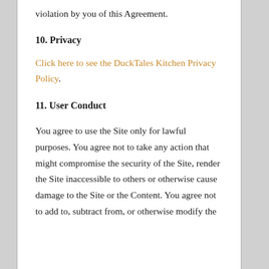violation by you of this Agreement.
10. Privacy
Click here to see the DuckTales Kitchen Privacy Policy.
11. User Conduct
You agree to use the Site only for lawful purposes. You agree not to take any action that might compromise the security of the Site, render the Site inaccessible to others or otherwise cause damage to the Site or the Content. You agree not to add to, subtract from, or otherwise modify the